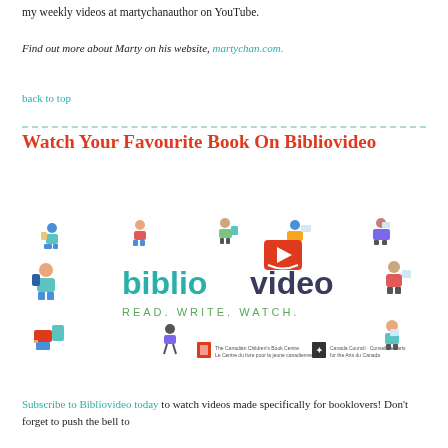my weekly videos at martychanauthor on YouTube.
Find out more about Marty on his website, martychan.com.
back to top
Watch Your Favourite Book On Bibliovideo
[Figure (logo): Bibliovideo logo with colorful illustrated figures of readers and the text 'bibliovideo READ. WRITE. WATCH.' with logos of The Canadian Children's Book Centre and Canada Council for the Arts]
Subscribe to Bibliovideo today to watch videos made specifically for booklovers! Don't forget to push the bell to